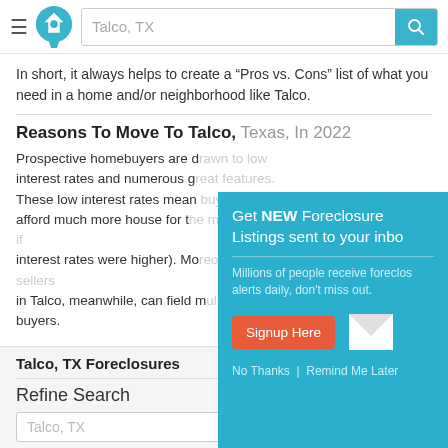Talco, TX — search bar with logo and hamburger menu
In short, it always helps to create a “Pros vs. Cons” list of what you need in a home and/or neighborhood like Talco.
Reasons To Move To Talco, Texas, In 2022
Prospective homebuyers are drawn to low interest rates and numerous great features. These low interest rates mean buyers can afford much more house for the money (vs. if interest rates were higher). Moreover, sellers in Talco, meanwhile, can field multiple buyers.
[Figure (infographic): Popup modal with teal background: 'Get NEW Foreclosure Listings sent to your inbox'. Subtitle: 'Millions of people receive foreclosure alerts daily, don’t miss out.' Red 'Signup Here' button. White envelope icon. 'No Thanks | Remind Me Later' footer link.]
Talco, TX Foreclosures
Refine Search
Talco, TX